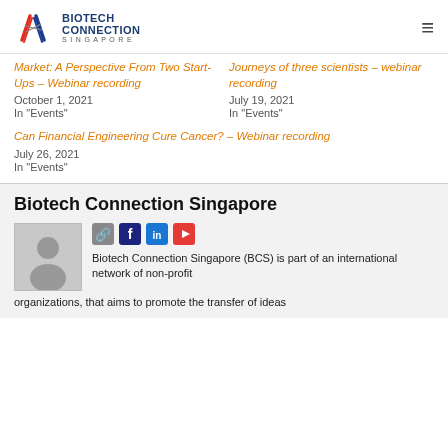Biotech Connection Singapore — navigation header with logo and hamburger menu
Market: A Perspective From Two Start-Ups – Webinar recording
October 1, 2021
In "Events"
Journeys of three scientists – webinar recording
July 19, 2021
In "Events"
Can Financial Engineering Cure Cancer? – Webinar recording
July 26, 2021
In "Events"
Biotech Connection Singapore
[Figure (illustration): Gray avatar/profile placeholder icon showing silhouette of a person]
[Figure (infographic): Social media icons: link/chain icon (gray), Facebook (dark blue), LinkedIn (blue), YouTube (red)]
Biotech Connection Singapore (BCS) is part of an international network of non-profit organizations, that aims to promote the transfer of ideas